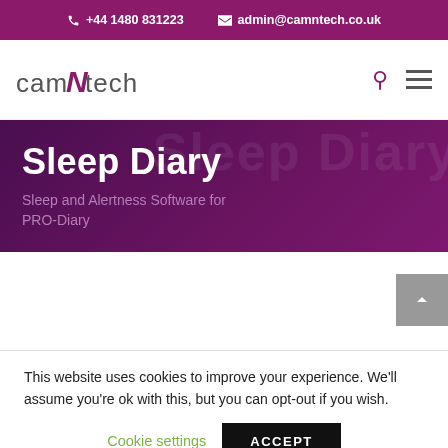+44 1480 831223  admin@camntech.co.uk
[Figure (logo): CamNtech logo with stylized N slash in purple]
Sleep Diary
Sleep and Alertness Software for PRO-Diary
This website uses cookies to improve your experience. We'll assume you're ok with this, but you can opt-out if you wish.
Cookie settings  ACCEPT